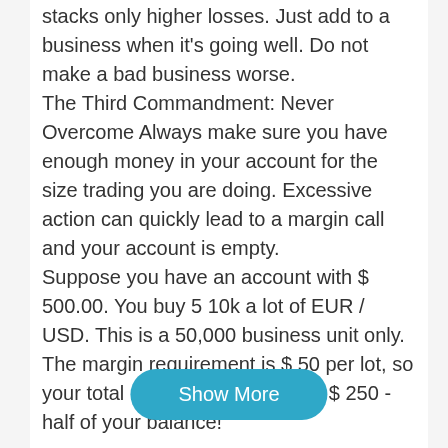stacks only higher losses. Just add to a business when it's going well. Do not make a bad business worse.
The Third Commandment: Never Overcome Always make sure you have enough money in your account for the size trading you are doing. Excessive action can quickly lead to a margin call and your account is empty.
Suppose you have an account with $ 500.00. You buy 5 10k a lot of EUR / USD. This is a 50,000 business unit only. The margin requirement is $ 50 per lot, so your total margin requirement is $ 250 - half of your balance!
It was a huge over-indebted position. Since you exchange 5 lots, each transfer of a pip is synonymous ... $ 5. So, the